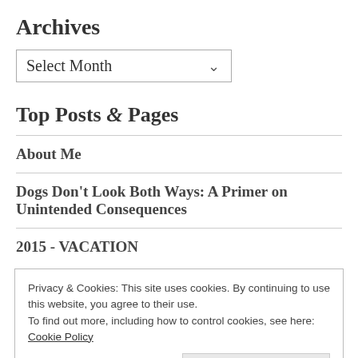Archives
[Figure (screenshot): Select Month dropdown widget]
Top Posts & Pages
About Me
Dogs Don't Look Both Ways: A Primer on Unintended Consequences
2015 - VACATION
Privacy & Cookies: This site uses cookies. By continuing to use this website, you agree to their use.
To find out more, including how to control cookies, see here:
Cookie Policy
Among the Zinnias